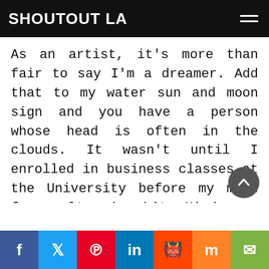SHOUTOUT LA
As an artist, it's more than fair to say I'm a dreamer. Add that to my water sun and moon sign and you have a person whose head is often in the clouds. It wasn't until I enrolled in business classes at the University before my mind frame altered a bit. Mind you, I was the most marginalized human in most all of these classes. This perplexed me a bit. I struggled to understand the imbalance of BIPOC and business. It enticed me. I was surrounded by eager, privileged, Anglo males- learning the fundamentals of business administration, accounting, and marketing. Although still very
f  t  p  in  reddit  mix  email